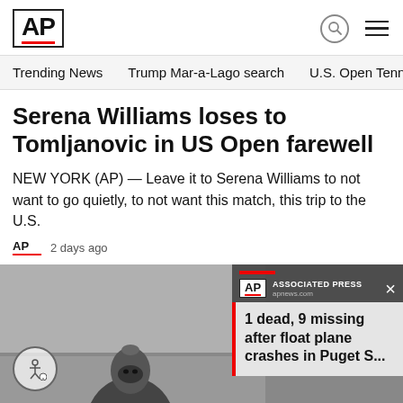AP
Trending News   Trump Mar-a-Lago search   U.S. Open Tennis
Serena Williams loses to Tomljanovic in US Open farewell
NEW YORK (AP) — Leave it to Serena Williams to not want to go quietly, to not want this match, this trip to the U.S.
AP   2 days ago
[Figure (photo): Black and white photo showing a person wearing a knit face mask/balaclava, with partial AP notification popup overlay showing '1 dead, 9 missing after float plane crashes in Puget S...']